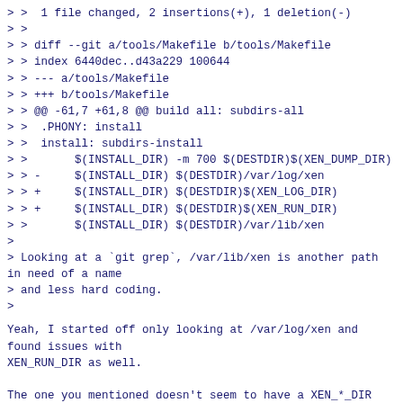> >  1 file changed, 2 insertions(+), 1 deletion(-)
> >
> > diff --git a/tools/Makefile b/tools/Makefile
> > index 6440dec..d43a229 100644
> > --- a/tools/Makefile
> > +++ b/tools/Makefile
> > @@ -61,7 +61,8 @@ build all: subdirs-all
> >  .PHONY: install
> >  install: subdirs-install
> >       $(INSTALL_DIR) -m 700 $(DESTDIR)$(XEN_DUMP_DIR)
> > -     $(INSTALL_DIR) $(DESTDIR)/var/log/xen
> > +     $(INSTALL_DIR) $(DESTDIR)$(XEN_LOG_DIR)
> > +     $(INSTALL_DIR) $(DESTDIR)$(XEN_RUN_DIR)
> >       $(INSTALL_DIR) $(DESTDIR)/var/lib/xen
>
> Looking at a `git grep`, /var/lib/xen is another path
in need of a name
> and less hard coding.
>
Yeah, I started off only looking at /var/log/xen and
found issues with
XEN_RUN_DIR as well.
The one you mentioned doesn't seem to have a XEN_*_DIR
set, so I left it
untouched. I have it on my list already.
Wei.